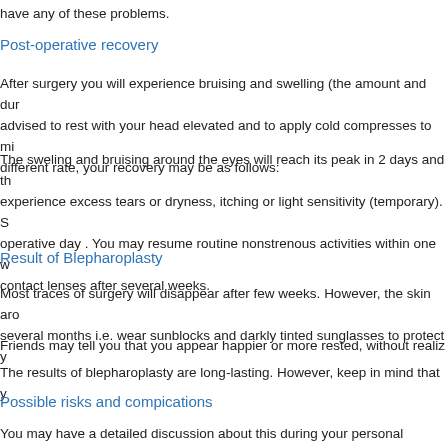have any of these problems.
Post-operative recovery
After surgery you will experience bruising and swelling (the amount and dur advised to rest with your head elevated and to apply cold compresses to mi different rate, your recovery may be as follows:
The sweling and bruising around the eyes will reach its peak in 2 days and th experience excess tears or dryness, itching or light sensitivity (temporary). S operative day . You may resume routine nonstrenous activities within one w contact lenses after several weeks.
Result of Blepharoplasty
Most traces of surgery will disappear after few weeks. However, the skin aro several months i.e. wear sunblocks and darkly tinted sunglasses to protect y
Friends may tell you that you appear happier or more rested, without realiz
The results of blepharoplasty are long-lasting. However, keep in mind that y
Possible risks and compications
You may have a detailed discussion about this during your personal consult